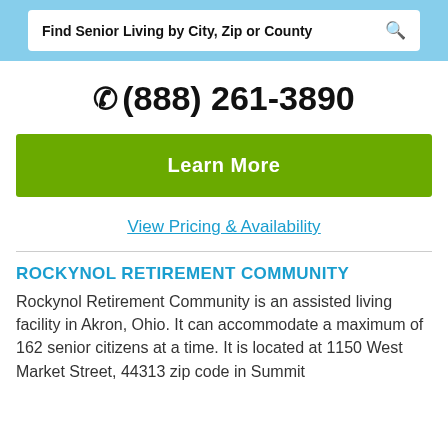Find Senior Living by City, Zip or County
(888) 261-3890
Learn More
View Pricing & Availability
ROCKYNOL RETIREMENT COMMUNITY
Rockynol Retirement Community is an assisted living facility in Akron, Ohio. It can accommodate a maximum of 162 senior citizens at a time. It is located at 1150 West Market Street, 44313 zip code in Summit